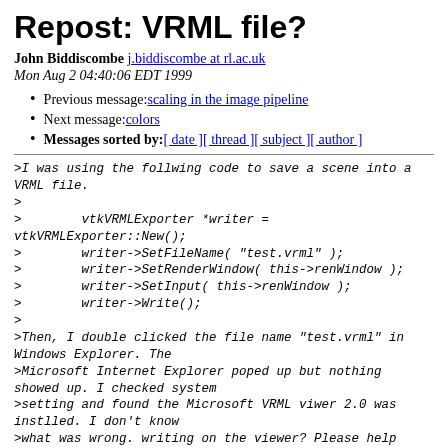Repost: VRML file?
John Biddiscombe j.biddiscombe at rl.ac.uk
Mon Aug 2 04:40:06 EDT 1999
Previous message: scaling in the image pipeline
Next message: colors
Messages sorted by: [ date ] [ thread ] [ subject ] [ author ]
>I was using the follwing code to save a scene into a VRML file.
>
>        vtkVRMLExporter *writer = vtkVRMLExporter::New();
>        writer->SetFileName( "test.vrml" );
>        writer->SetRenderWindow( this->renWindow );
>        writer->SetInput( this->renWindow );
>        writer->Write();
>
>Then, I double clicked the file name "test.vrml" in Windows Explorer. The
>Microsoft Internet Explorer poped up but nothing showed up. I checked system
>setting and found the Microsoft VRML viwer 2.0 was instlled. I don't know
>what was wrong. writing on the viewer? Please help